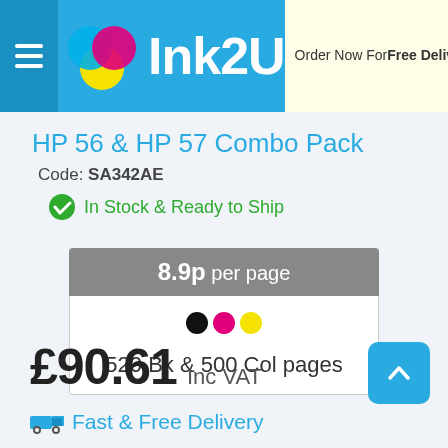Ink2U — Order Now For Free Delivery Friday, 2nd
HP 56 & HP 57 Combo Pack
Code: SA342AE
In Stock & Ready to Ship
8.9p per page
[Figure (infographic): Three ink colour dots: black, magenta, yellow]
520 Bk & 500 Col pages
£90.61 Inc VAT
Fast & Free Delivery